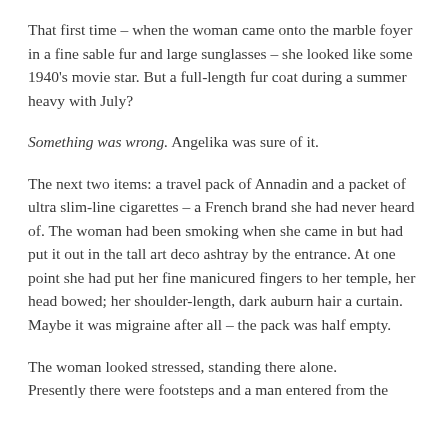That first time – when the woman came onto the marble foyer in a fine sable fur and large sunglasses – she looked like some 1940's movie star. But a full-length fur coat during a summer heavy with July?
Something was wrong. Angelika was sure of it.
The next two items: a travel pack of Annadin and a packet of ultra slim-line cigarettes – a French brand she had never heard of. The woman had been smoking when she came in but had put it out in the tall art deco ashtray by the entrance. At one point she had put her fine manicured fingers to her temple, her head bowed; her shoulder-length, dark auburn hair a curtain. Maybe it was migraine after all – the pack was half empty.
The woman looked stressed, standing there alone. Presently there were footsteps and a man entered from the